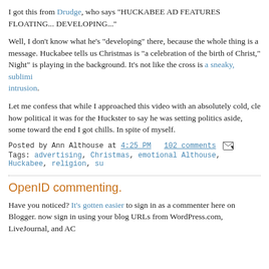I got this from Drudge, who says "HUCKABEE AD FEATURES FLOATING... DEVELOPING..."
Well, I don't know what he's "developing" there, because the whole thing is a message. Huckabee tells us Christmas is "a celebration of the birth of Christ," Night" is playing in the background. It's not like the cross is a sneaky, sublimi intrusion.
Let me confess that while I approached this video with an absolutely cold, cle how political it was for the Huckster to say he was setting politics aside, some toward the end I got chills. In spite of myself.
Posted by Ann Althouse at 4:25 PM  102 comments
Tags: advertising, Christmas, emotional Althouse, Huckabee, religion, su
OpenID commenting.
Have you noticed? It's gotten easier to sign in as a commenter here on Blogger. now sign in using your blog URLs from WordPress.com, LiveJournal, and AC